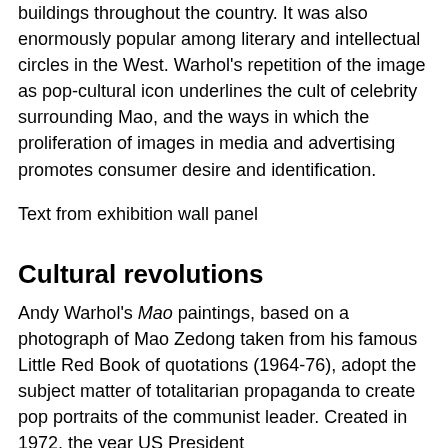buildings throughout the country. It was also enormously popular among literary and intellectual circles in the West. Warhol's repetition of the image as pop-cultural icon underlines the cult of celebrity surrounding Mao, and the ways in which the proliferation of images in media and advertising promotes consumer desire and identification.
Text from exhibition wall panel
Cultural revolutions
Andy Warhol's Mao paintings, based on a photograph of Mao Zedong taken from his famous Little Red Book of quotations (1964-76), adopt the subject matter of totalitarian propaganda to create pop portraits of the communist leader. Created in 1972, the year US President